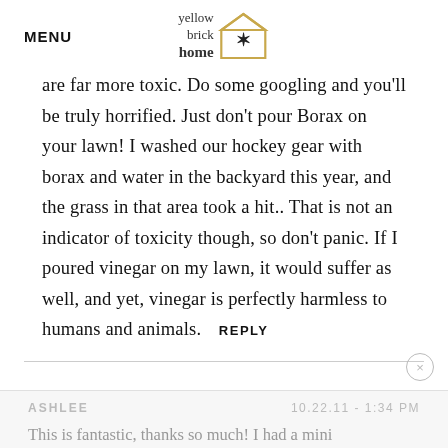MENU | yellow brick home logo
are far more toxic. Do some googling and you'll be truly horrified. Just don't pour Borax on your lawn! I washed our hockey gear with borax and water in the backyard this year, and the grass in that area took a hit.. That is not an indicator of toxicity though, so don't panic. If I poured vinegar on my lawn, it would suffer as well, and yet, vinegar is perfectly harmless to humans and animals.  REPLY
ASHLEE   10.22.11 - 1:34 PM
This is fantastic, thanks so much! I had a mini